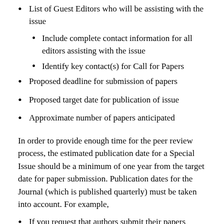List of Guest Editors who will be assisting with the issue
Include complete contact information for all editors assisting with the issue
Identify key contact(s) for Call for Papers
Proposed deadline for submission of papers
Proposed target date for publication of issue
Approximate number of papers anticipated
In order to provide enough time for the peer review process, the estimated publication date for a Special Issue should be a minimum of one year from the target date for paper submission. Publication dates for the Journal (which is published quarterly) must be taken into account. For example,
If you request that authors submit their papers